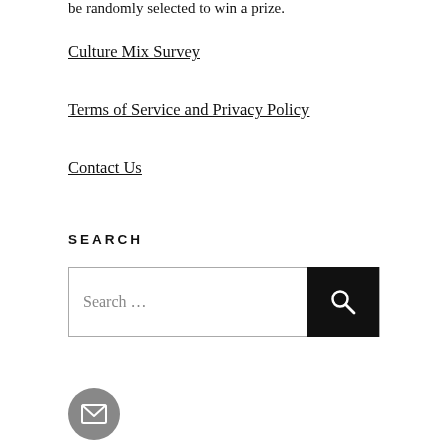be randomly selected to win a prize.
Culture Mix Survey
Terms of Service and Privacy Policy
Contact Us
SEARCH
[Figure (other): Search input box with magnifying glass button icon]
[Figure (other): Gray circular email/mail icon button]